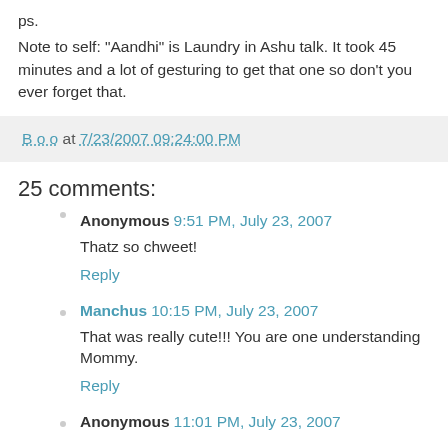ps.
Note to self: "Aandhi" is Laundry in Ashu talk. It took 45 minutes and a lot of gesturing to get that one so don't you ever forget that.
B o o at 7/23/2007 09:24:00 PM
25 comments:
Anonymous  9:51 PM, July 23, 2007
Thatz so chweet!
Reply
Manchus  10:15 PM, July 23, 2007
That was really cute!!! You are one understanding Mommy.
Reply
Anonymous  11:01 PM, July 23, 2007